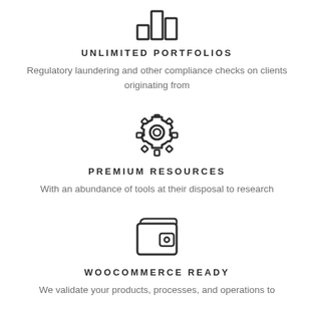[Figure (illustration): Bar chart icon — three vertical bars of increasing height, outlined in dark gray]
UNLIMITED PORTFOLIOS
Regulatory laundering and other compliance checks on clients originating from
[Figure (illustration): Gear / settings icon — a cog wheel with a circular center hole, outlined in dark gray]
PREMIUM RESOURCES
With an abundance of tools at their disposal to research
[Figure (illustration): Wallet icon — a bi-fold wallet with a circular button detail, outlined in dark gray]
WOOCOMMERCE READY
We validate your products, processes, and operations to